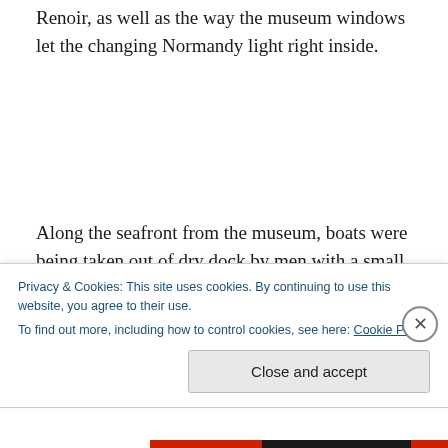Renoir, as well as the way the museum windows let the changing Normandy light right inside.
Along the seafront from the museum, boats were being taken out of dry dock by men with a small crane. We walked out along the long pier. Retired couples out for a stroll greeted us warmly, and a class of small student
Privacy & Cookies: This site uses cookies. By continuing to use this website, you agree to their use.
To find out more, including how to control cookies, see here: Cookie Policy
Close and accept